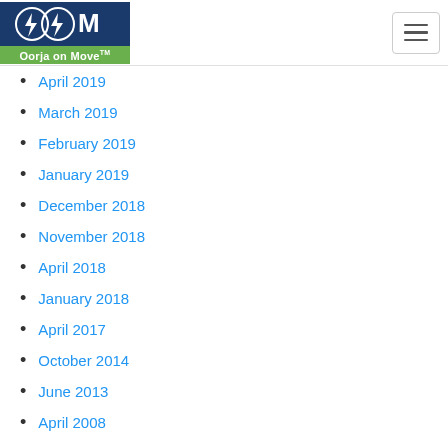Oorja on Move
April 2019
March 2019
February 2019
January 2019
December 2018
November 2018
April 2018
January 2018
April 2017
October 2014
June 2013
April 2008
January 2008
November 2007
September 2007